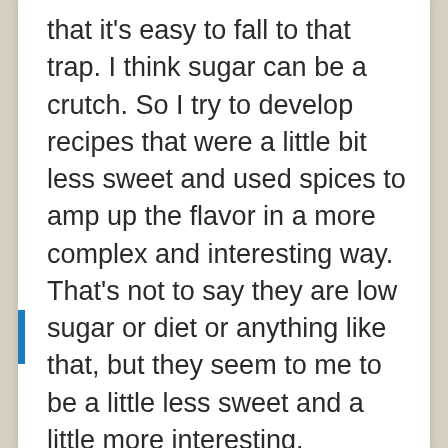that it's easy to fall to that trap. I think sugar can be a crutch. So I try to develop recipes that were a little bit less sweet and used spices to amp up the flavor in a more complex and interesting way. That's not to say they are low sugar or diet or anything like that, but they seem to me to be a little less sweet and a little more interesting.

I also wrote a lot of history. I got into researching the history of certain spices and how that related a little bit to my family history because my parents are from Sri Lanka. I started digging into the history of cinnamon, I realized that my great grandmother grew clove trees in her yard